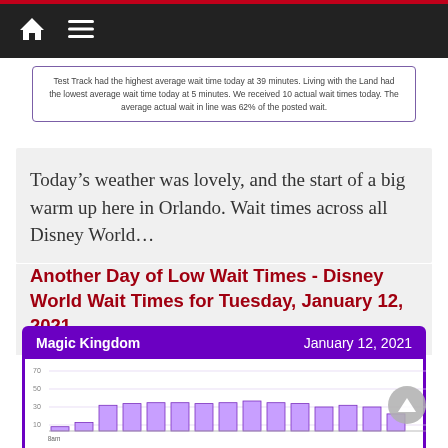Navigation bar with home and menu icons
Test Track had the highest average wait time today at 39 minutes. Living with the Land had the lowest average wait time today at 5 minutes. We received 10 actual wait times today. The average actual wait in line was 62% of the posted wait.
Today’s weather was lovely, and the start of a big warm up here in Orlando. Wait times across all Disney World…
Another Day of Low Wait Times - Disney World Wait Times for Tuesday, January 12, 2021
[Figure (bar-chart): Magic Kingdom — January 12, 2021]